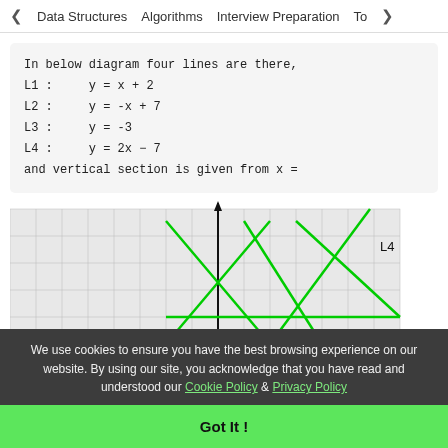< Data Structures   Algorithms   Interview Preparation   To>
In below diagram four lines are there,
L1 :     y = x + 2
L2 :     y = -x + 7
L3 :     y = -3
L4 :     y = 2x - 7
and vertical section is given from x =
[Figure (engineering-diagram): Coordinate grid diagram showing four lines plotted in green: L1 (y=x+2), L2 (y=-x+7), L3 (y=-3), L4 (y=2x-7). A vertical y-axis arrow is visible. The lines are drawn in bright green on a gray grid. L4 label is visible at right.]
We use cookies to ensure you have the best browsing experience on our website. By using our site, you acknowledge that you have read and understood our Cookie Policy & Privacy Policy
Got It !